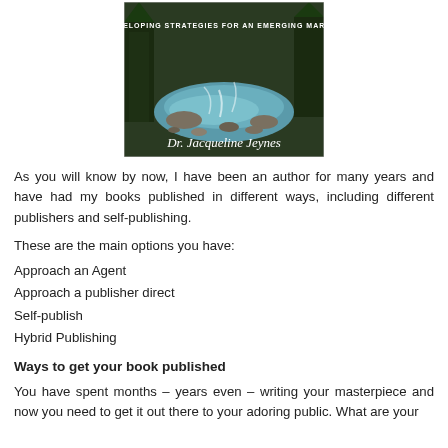[Figure (illustration): Book cover showing a river with rocks and trees, with text 'DEVELOPING STRATEGIES FOR AN EMERGING MARKET' and author name 'Dr. Jacqueline Jeynes']
As you will know by now, I have been an author for many years and have had my books published in different ways, including different publishers and self-publishing.
These are the main options you have:
Approach an Agent
Approach a publisher direct
Self-publish
Hybrid Publishing
Ways to get your book published
You have spent months – years even – writing your masterpiece and now you need to get it out there to your adoring public. What are your